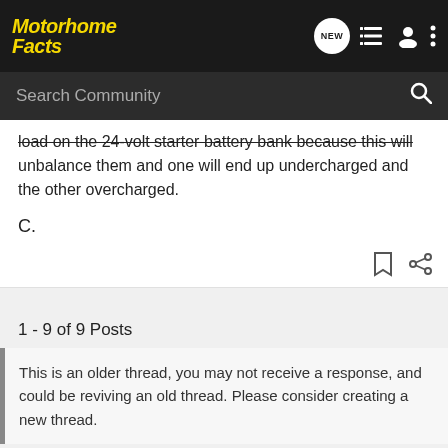Motorhome Facts
load on the 24-volt starter battery bank because this will unbalance them and one will end up undercharged and the other overcharged.

C.
1 - 9 of 9 Posts
This is an older thread, you may not receive a response, and could be reviving an old thread. Please consider creating a new thread.
[Figure (screenshot): GEICO advertisement banner: ENJOYMENT MADE EASY - GET STARTED GEICO FOR YOUR RV]